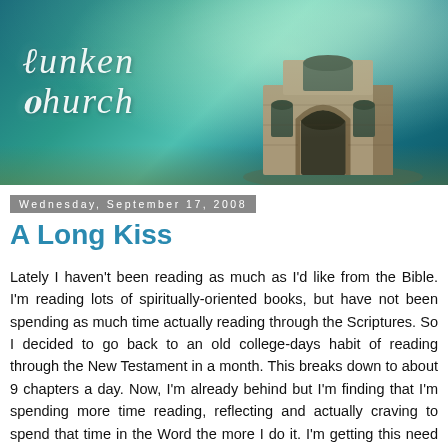[Figure (illustration): Banner image of a sunken church underwater scene with teal/green water, light rays, and a stone church building on the right. Text reads 'Sunken Church' in white italic script on the left.]
Wednesday, September 17, 2008
A Long Kiss
Lately I haven't been reading as much as I'd like from the Bible. I'm reading lots of spiritually-oriented books, but have not been spending as much time actually reading through the Scriptures. So I decided to go back to an old college-days habit of reading through the New Testament in a month. This breaks down to about 9 chapters a day. Now, I'm already behind but I'm finding that I'm spending more time reading, reflecting and actually craving to spend that time in the Word the more I do it. I'm getting this need for...